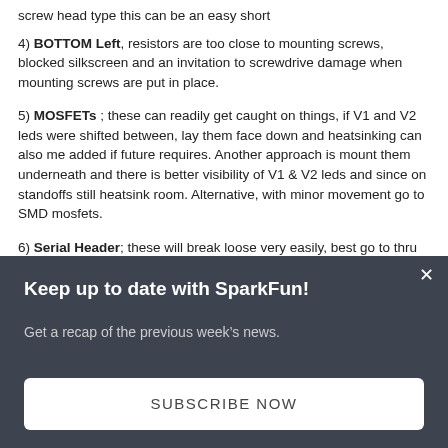screw head type this can be an easy short
4) BOTTOM Left, resistors are too close to mounting screws, blocked silkscreen and an invitation to screwdrive damage when mounting screws are put in place.
5) MOSFETs ; these can readily get caught on things, if V1 and V2 leds were shifted between, lay them face down and heatsinking can also me added if future requires. Another approach is mount them underneath and there is better visibility of V1 & V2 leds and since on standoffs still heatsink room. Alternative, with minor movement go to SMD mosfets.
6) Serial Header; these will break loose very easily, best go to thru pin or at least reenforce the mounting some way.
7) Tants; as a rule i stay away from Tantalum caps, they come with
Keep up to date with SparkFun!
Get a recap of the previous week's news.
SUBSCRIBE NOW